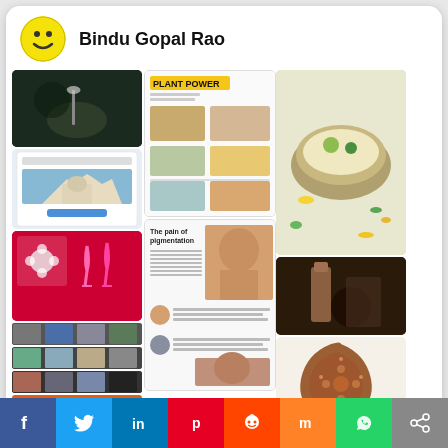[Figure (screenshot): Pinterest profile card for Bindu Gopal Rao with smiley face avatar and grid of pinned images]
Bindu Gopal Rao
Follow On Pinterest
[Figure (infographic): Social sharing bar at bottom with icons for Facebook, Twitter, LinkedIn, Pinterest, Reddit, Mix, WhatsApp, and Share]